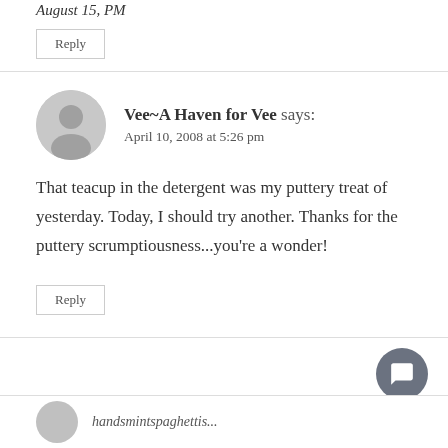August 15, PM
Reply
Vee~A Haven for Vee says:
April 10, 2008 at 5:26 pm
That teacup in the detergent was my puttery treat of yesterday. Today, I should try another. Thanks for the puttery scrumptiousness...you're a wonder!
Reply